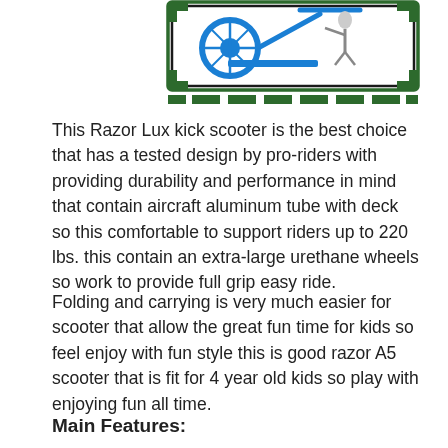[Figure (illustration): Razor Lux kick scooter product image inside a dark green dashed decorative border frame with corner brackets]
This Razor Lux kick scooter is the best choice that has a tested design by pro-riders with providing durability and performance in mind that contain aircraft aluminum tube with deck so this comfortable to support riders up to 220 lbs. this contain an extra-large urethane wheels so work to provide full grip easy ride.
Folding and carrying is very much easier for scooter that allow the great fun time for kids so feel enjoy with fun style this is good razor A5 scooter that is fit for 4 year old kids so play with enjoying fun all time.
Main Features: